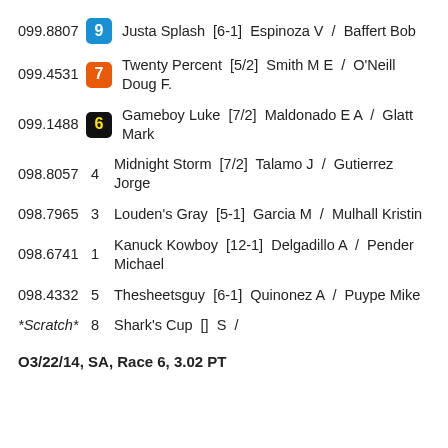099.8807  9  Justa Splash  [6-1]  Espinoza V  /  Baffert Bob
099.4531  7  Twenty Percent  [5/2]  Smith M E  /  O'Neill Doug F.
099.1488  6  Gameboy Luke  [7/2]  Maldonado E A  /  Glatt Mark
098.8057  4  Midnight Storm  [7/2]  Talamo J  /  Gutierrez Jorge
098.7965  3  Louden's Gray  [5-1]  Garcia M  /  Mulhall Kristin
098.6741  1  Kanuck Kowboy  [12-1]  Delgadillo A  /  Pender Michael
098.4332  5  Thesheetsguy  [6-1]  Quinonez A  /  Puype Mike
*Scratch*  8  Shark's Cup  []  S  /
O3/22/14, SA, Race 6, 3.02 PT